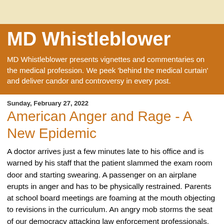MD Whistleblower
MD Whistleblower presents vignettes and commentaries on the medical profession. We peek 'behind the medical curtain' and deliver candor and controversy in every post.
Sunday, February 27, 2022
American Anger and Rage - A New Epidemic
A doctor arrives just a few minutes late to his office and is warned by his staff that the patient slammed the exam room door and starting swearing.   A passenger on an airplane erupts in anger and has to be physically restrained.  Parents at school board meetings are foaming at the mouth objecting to revisions in the curriculum.  An angry mob storms the seat of our democracy attacking law enforcement professionals, an event that is later referred to as 'legitimate political discourse'.